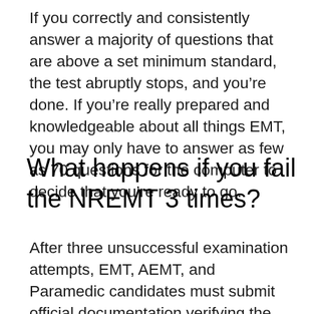If you correctly and consistently answer a majority of questions that are above a set minimum standard, the test abruptly stops, and you’re done. If you’re really prepared and knowledgeable about all things EMT, you may only have to answer as few as 70 questions for the computer to decide that you’re ready to go.
What happens if you fail the NREMT 3 times?
After three unsuccessful examination attempts, EMT, AEMT, and Paramedic candidates must submit official documentation verifying the completion of a remedial training program.